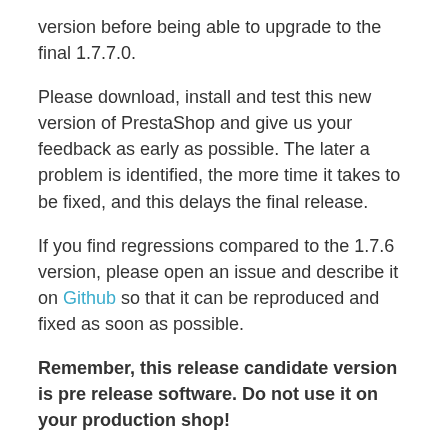version before being able to upgrade to the final 1.7.7.0.
Please download, install and test this new version of PrestaShop and give us your feedback as early as possible. The later a problem is identified, the more time it takes to be fixed, and this delays the final release.
If you find regressions compared to the 1.7.6 version, please open an issue and describe it on Github so that it can be reproduced and fixed as soon as possible.
Remember, this release candidate version is pre release software. Do not use it on your production shop!
Notable changes in the Beta...